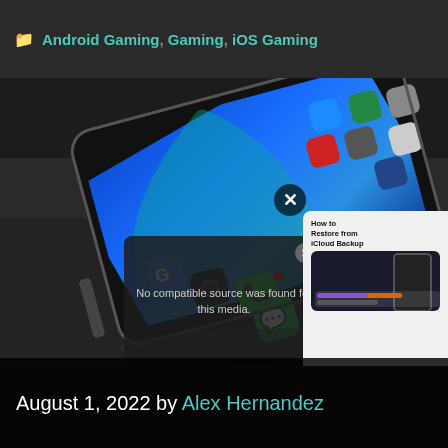Android Gaming, Gaming, iOS Gaming
[Figure (photo): Close-up photo of a smartphone with app icons including Google, Camera, Phone, and WhatsApp on a dark background]
[Figure (screenshot): Video player overlay showing 'No compatible source was found for this media.' with a close button, and a suggested content card showing 'How to Restore from iCloud Backup' with storage bar indicators and an X dismiss button]
August 1, 2022 by Alex Hernandez